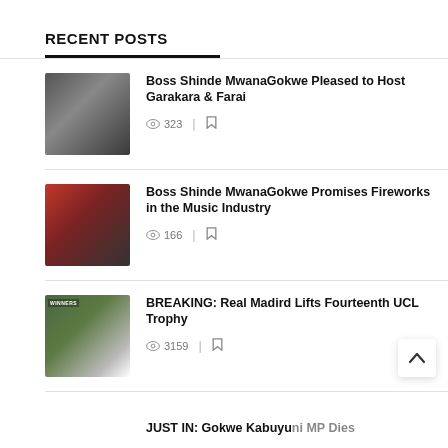RECENT POSTS
Boss Shinde MwanaGokwe Pleased to Host Garakara & Farai | 323 views
Boss Shinde MwanaGokwe Promises Fireworks in the Music Industry | 166 views
BREAKING: Real Madird Lifts Fourteenth UCL Trophy | 3159 views
JUST IN: Gokwe Kabuyuni MP Dies (partial)